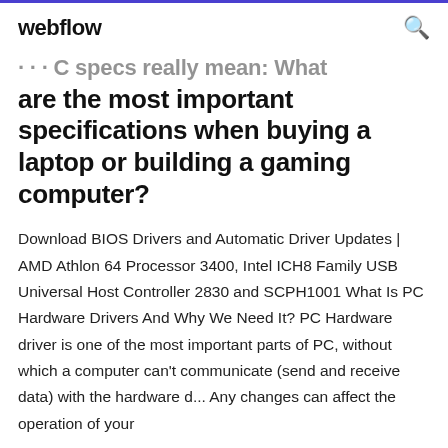webflow
...for PC specs really mean: What are the most important specifications when buying a laptop or building a gaming computer?
Download BIOS Drivers and Automatic Driver Updates | AMD Athlon 64 Processor 3400, Intel ICH8 Family USB Universal Host Controller 2830 and SCPH1001 What Is PC Hardware Drivers And Why We Need It? PC Hardware driver is one of the most important parts of PC, without which a computer can't communicate (send and receive data) with the hardware d... Any changes can affect the operation of your